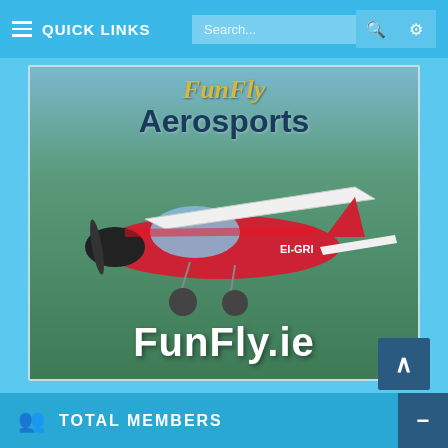≡ QUICK LINKS
[Figure (photo): FunFly Aerosports promotional image showing a red and white light aircraft in flight over green landscape, with text 'FunFly Aerosports' and 'FunFly.ie']
TOTAL MEMBERS